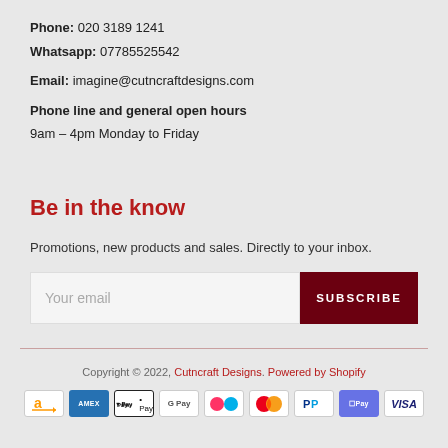Phone: 020 3189 1241
Whatsapp: 07785525542

Email: imagine@cutncraftdesigns.com

Phone line and general open hours
9am – 4pm Monday to Friday
Be in the know
Promotions, new products and sales. Directly to your inbox.
[Email subscription form with SUBSCRIBE button]
Copyright © 2022, Cutncraft Designs. Powered by Shopify
[Figure (other): Payment method icons: Amazon, Amex, Apple Pay, Google Pay, Klarna, Mastercard, PayPal, Shop Pay, Visa]